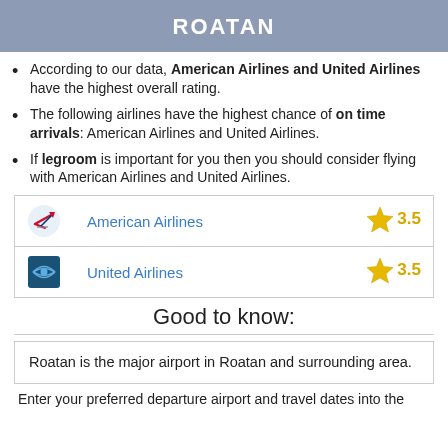ROATAN
According to our data, American Airlines and United Airlines have the highest overall rating.
The following airlines have the highest chance of on time arrivals: American Airlines and United Airlines.
If legroom is important for you then you should consider flying with American Airlines and United Airlines.
| Airline | Rating |
| --- | --- |
| American Airlines | 3.5 |
| United Airlines | 3.5 |
Good to know:
Roatan is the major airport in Roatan and surrounding area.
Enter your preferred departure airport and travel dates into the